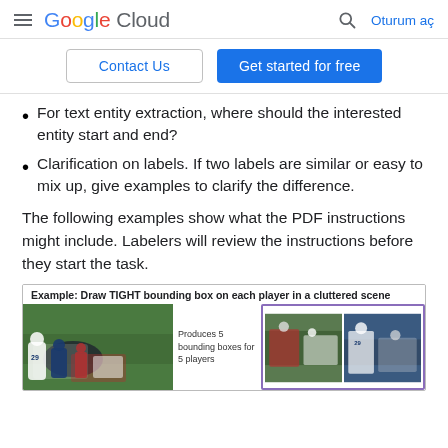Google Cloud — Oturum aç
For text entity extraction, where should the interested entity start and end?
Clarification on labels. If two labels are similar or easy to mix up, give examples to clarify the difference.
The following examples show what the PDF instructions might include. Labelers will review the instructions before they start the task.
[Figure (screenshot): Example box titled 'Example: Draw TIGHT bounding box on each player in a cluttered scene' showing football player images with bounding boxes and text 'Produces 5 bounding boxes for 5 players']